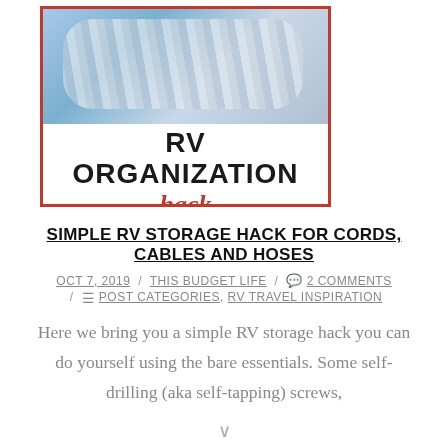[Figure (illustration): RV Organization Hack graphic: photo of coiled cords/hoses on top, white banner below with bold text 'RV ORGANIZATION' in black and 'hack' in red italic script, all bordered in red]
SIMPLE RV STORAGE HACK FOR CORDS, CABLES AND HOSES
OCT 7, 2019 / THIS BUDGET LIFE / 💬 2 COMMENTS / ☰ POST CATEGORIES, RV TRAVEL INSPIRATION
Here we bring you a simple RV storage hack you can do yourself using the bare essentials. Some self-drilling (aka self-tapping) screws,